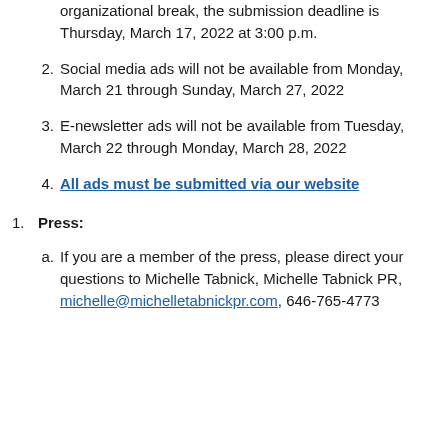organizational break, the submission deadline is Thursday, March 17, 2022 at 3:00 p.m.
2. Social media ads will not be available from Monday, March 21 through Sunday, March 27, 2022
3. E-newsletter ads will not be available from Tuesday, March 22 through Monday, March 28, 2022
4. All ads must be submitted via our website
1. Press:
a. If you are a member of the press, please direct your questions to Michelle Tabnick, Michelle Tabnick PR, michelle@michelletabnickpr.com, 646-765-4773